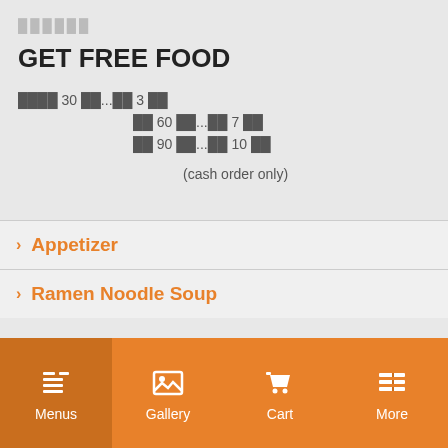██████
GET FREE FOOD
████ 30 ██...██ 3 ██
██ 60 ██...██ 7 ██
██ 90 ██...██ 10 ██
(cash order only)
> Appetizer
> Ramen Noodle Soup
Menus  Gallery  Cart  More